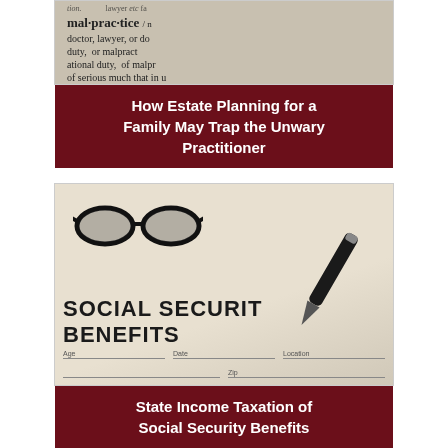[Figure (photo): Close-up of a dictionary page showing the word 'malpractice' with its definition, mentioning doctor, lawyer, duty, or malpractice-related terms]
How Estate Planning for a Family May Trap the Unwary Practitioner
[Figure (photo): Photo of glasses and a pen resting on a Social Security Benefits form document]
State Income Taxation of Social Security Benefits